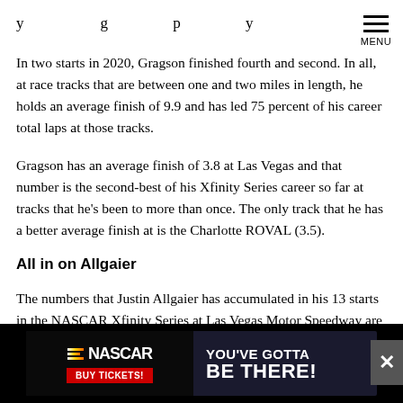MENU
y g p y
In two starts in 2020, Gragson finished fourth and second. In all, at race tracks that are between one and two miles in length, he holds an average finish of 9.9 and has led 75 percent of his career total laps at those tracks.
Gragson has an average finish of 3.8 at Las Vegas and that number is the second-best of his Xfinity Series career so far at tracks that he's been to more than once. The only track that he has a better average finish at is the Charlotte ROVAL (3.5).
All in on Allgaier
The numbers that Justin Allgaier has accumulated in his 13 starts in the NASCAR Xfinity Series at Las Vegas Motor Speedway are extremely impressive.
[Figure (infographic): NASCAR advertisement banner: NASCAR logo with colored stripes, BUY TICKETS button, YOU'VE GOTTA BE THERE! text on dark background]